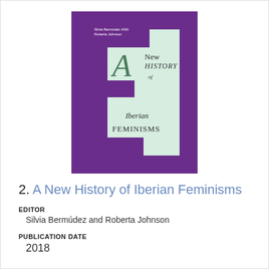[Figure (illustration): Book cover of 'A New History of Iberian Feminisms'. Purple and mint green design with large stylized letter F. Text reads: Edited by Silvia Bermúdez and Roberta Johnson. A New History of Iberian FEMINISMS.]
2. A New History of Iberian Feminisms
EDITOR
Silvia Bermúdez and Roberta Johnson
PUBLICATION DATE
2018